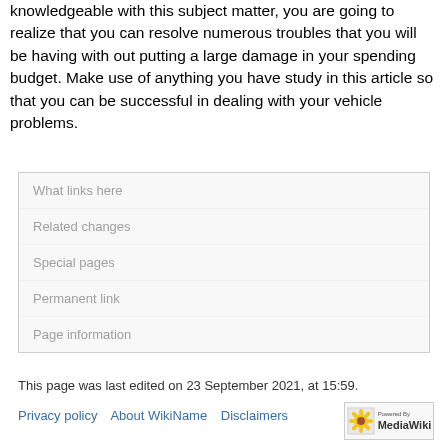knowledgeable with this subject matter, you are going to realize that you can resolve numerous troubles that you will be having with out putting a large damage in your spending budget. Make use of anything you have study in this article so that you can be successful in dealing with your vehicle problems.
What links here
Related changes
Special pages
Permanent link
Page information
This page was last edited on 23 September 2021, at 15:59.
Privacy policy   About WikiName   Disclaimers